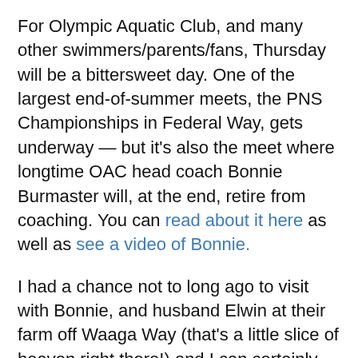For Olympic Aquatic Club, and many other swimmers/parents/fans, Thursday will be a bittersweet day. One of the largest end-of-summer meets, the PNS Championships in Federal Way, gets underway — but it's also the meet where longtime OAC head coach Bonnie Burmaster will, at the end, retire from coaching. You can read about it here as well as see a video of Bonnie.
I had a chance not to long ago to visit with Bonnie, and husband Elwin at their farm off Waaga Way (that's a little slice of heaven right there!) and I can certainly see why she will be missed. It has to be impossible not to like Bonnie. Her joy for her 'swim' kids is apparent and she never treated it like a job or chore —
something she had to do. Plus, she's one of the kindest and funniest people. It has to...